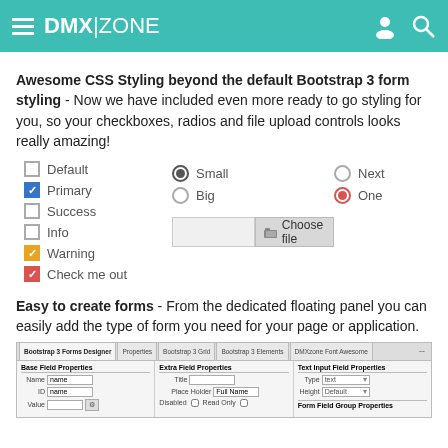DMX|ZONE
Awesome CSS Styling beyond the default Bootstrap 3 form styling - Now we have included even more ready to go styling for you, so your checkboxes, radios and file upload controls looks really amazing!
[Figure (screenshot): Form demo showing checkboxes (Default, Primary checked blue, Success, Info, Warning checked orange, Check me out checked red), radio buttons (Small filled, Big, Next, One filled red), and a file upload input with Choose file button]
Easy to create forms - From the dedicated floating panel you can easily add the type of form you need for your page or application.
[Figure (screenshot): Bootstrap 3 Forms Designer panel showing tabs: Bootstrap 3 Forms Designer, Properties, Bootstrap 3 Grid, Bootstrap 3 Elements, DMXzone Font Awesome. Base Field Properties (Name, ID, Value fields), Extra Field Properties (Title, Place Holder: Full Name, Disabled, Read Only), Text Input Field Properties (Type: text, Height: Default), Form Field Group Properties.]